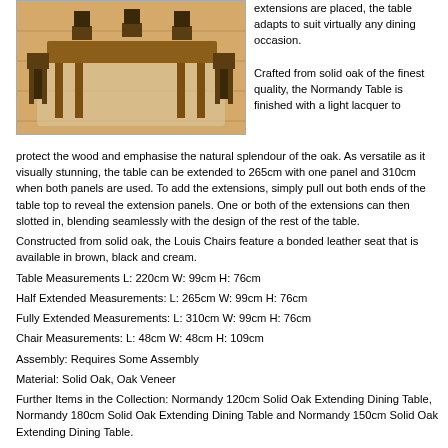[Figure (photo): Photo of a large oak dining table with multiple chairs around it on a wooden floor]
extensions are placed, the table adapts to suit virtually any dining occasion. Crafted from solid oak of the finest quality, the Normandy Table is finished with a light lacquer to protect the wood and emphasise the natural splendour of the oak. As versatile as it visually stunning, the table can be extended to 265cm with one panel and 310cm when both panels are used. To add the extensions, simply pull out both ends of the table top to reveal the extension panels. One or both of the extensions can then slotted in, blending seamlessly with the design of the rest of the table. Constructed from solid oak, the Louis Chairs feature a bonded leather seat that is available in brown, black and cream. Table Measurements L: 220cm W: 99cm H: 76cm Half Extended Measurements: L: 265cm W: 99cm H: 76cm Fully Extended Measurements: L: 310cm W: 99cm H: 76cm Chair Measurements: L: 48cm W: 48cm H: 109cm Assembly: Requires Some Assembly Material: Solid Oak, Oak Veneer Further Items in the Collection: Normandy 120cm Solid Oak Extending Dining Table, Normandy 180cm Solid Oak Extending Dining Table and Normandy 150cm Solid Oak Extending Dining Table.